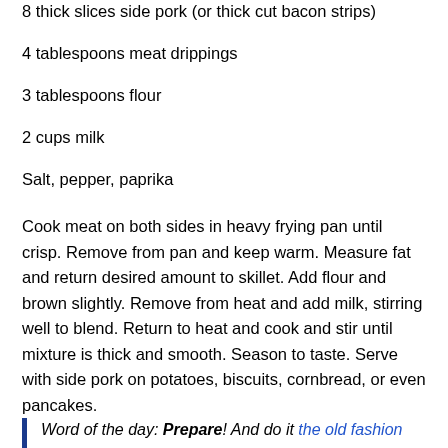8 thick slices side pork (or thick cut bacon strips)
4 tablespoons meat drippings
3 tablespoons flour
2 cups milk
Salt, pepper, paprika
Cook meat on both sides in heavy frying pan until crisp. Remove from pan and keep warm. Measure fat and return desired amount to skillet. Add flour and brown slightly. Remove from heat and add milk, stirring well to blend. Return to heat and cook and stir until mixture is thick and smooth. Season to taste. Serve with side pork on potatoes, biscuits, cornbread, or even pancakes.
Word of the day: Prepare! And do it the old fashion